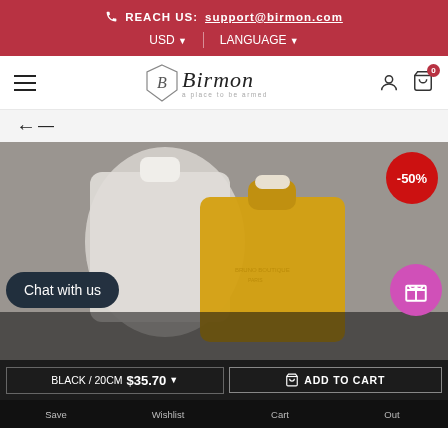REACH US: support@birmon.com | USD | LANGUAGE
[Figure (logo): Birmon brand logo with crest and stylized script text, subtitle 'a place to be armed']
← (back arrow navigation)
[Figure (photo): Yellow and white leather handbags on grey background with -50% discount badge in red circle]
Chat with us
BLACK / 20CM $35.70 ▼
ADD TO CART